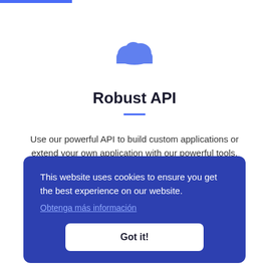[Figure (logo): Blue cloud icon centered near top of page]
Robust API
Use our powerful API to build custom applications or extend your own application with our powerful tools.
This website uses cookies to ensure you get the best experience on our website.
Obtenga más información
Got it!